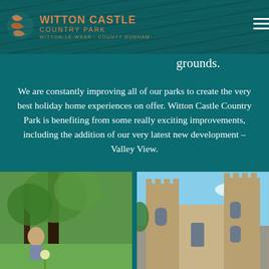WITTON CASTLE COUNTRY PARK · WITTON-LE-WEAR · COUNTY DURHAM
grounds.
We are constantly improving all of our parks to create the very best holiday home experiences on offer. Witton Castle Country Park is benefiting from some really exciting improvements, including the addition of our very latest new development – Valley View.
[Figure (photo): Child in garden/park setting near a tree, holding something, with grass and dandelions in foreground]
[Figure (photo): Witton Castle stone castle exterior with battlements against blue sky]